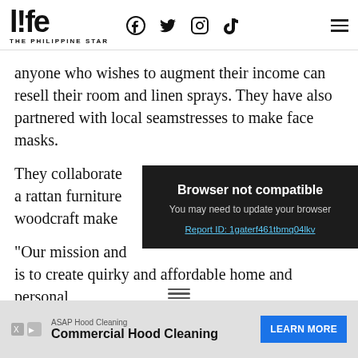life THE PHILIPPINE STAR — social icons: Facebook, Twitter, Instagram, TikTok, Menu
anyone who wishes to augment their income can resell their room and linen sprays. They have also partnered with local seamstresses to make face masks.
They collaborate with a rattan furniture woodcraft maker
[Figure (screenshot): Browser not compatible overlay. Text: 'Browser not compatible. You may need to update your browser. Report ID: 1gaterf461tbmq04lkv']
“Our mission and is to create quirky and affordable home and personal
[Figure (other): Advertisement: ASAP Hood Cleaning — Commercial Hood Cleaning — LEARN MORE button]
ASAP Hood Cleaning — Commercial Hood Cleaning — LEARN MORE